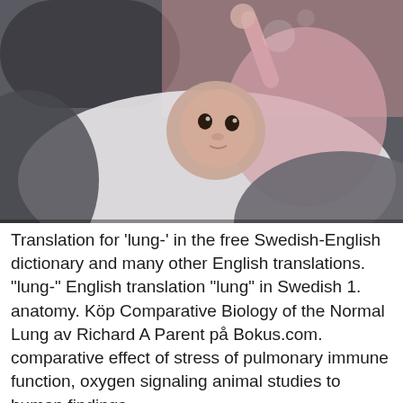[Figure (photo): A baby in pink clothes lying on its back, looking up, with an adult's hands/arms partially visible in the foreground and background. The photo has a shallow depth of field with blurred foreground and background.]
Translation for 'lung-' in the free Swedish-English dictionary and many other English translations. "lung-" English translation "lung" in Swedish 1. anatomy. Köp Comparative Biology of the Normal Lung av Richard A Parent på Bokus.com. comparative effect of stress of pulmonary immune function, oxygen signaling animal studies to human findings, development...